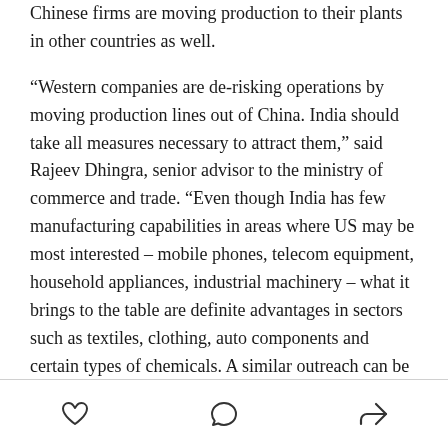Chinese firms are moving production to their plants in other countries as well.
“Western companies are de-risking operations by moving production lines out of China. India should take all measures necessary to attract them,” said Rajeev Dhingra, senior advisor to the ministry of commerce and trade. “Even though India has few manufacturing capabilities in areas where US may be most interested – mobile phones, telecom equipment, household appliances, industrial machinery – what it brings to the table are definite advantages in sectors such as textiles, clothing, auto components and certain types of chemicals. A similar outreach can be done to China in terms of what it imports from the US.”
[heart icon] [comment icon] [share icon]